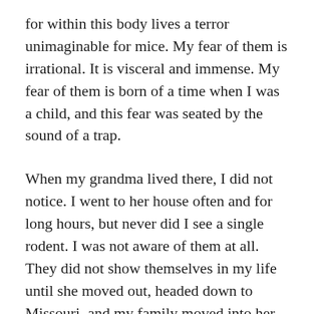for within this body lives a terror unimaginable for mice. My fear of them is irrational. It is visceral and immense. My fear of them is born of a time when I was a child, and this fear was seated by the sound of a trap.
When my grandma lived there, I did not notice. I went to her house often and for long hours, but never did I see a single rodent. I was not aware of them at all. They did not show themselves in my life until she moved out, headed down to Missouri, and my family moved into her house.
Infestation is too calm a word for the situation in that house. The place was ruled by mice. It was owned by them, and though we paid the rent and